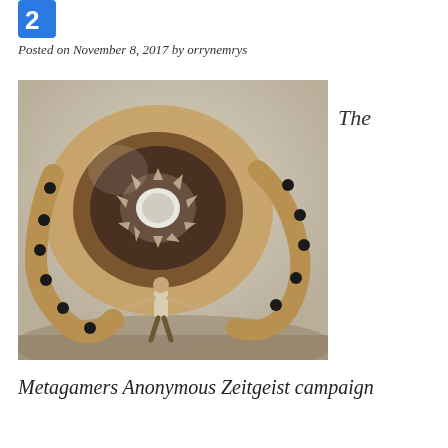[Figure (logo): Blue square icon with number or logo mark in top left corner]
Posted on November 8, 2017 by orrynemrys
[Figure (illustration): Fantasy illustration of a large circular mechanical creature with spiky teeth and tentacle-like arms holding a white star/gear center, with a small human figure standing beneath it in a desolate landscape]
The
Metagamers Anonymous Zeitgeist campaign
continues...